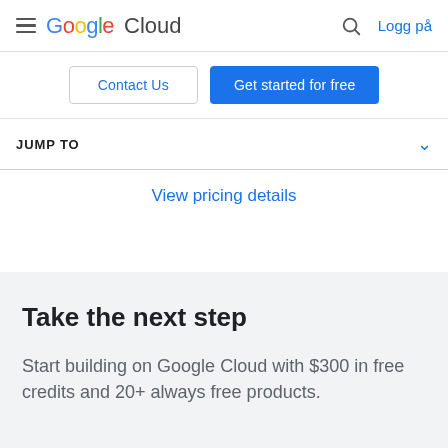Google Cloud — Logg på
Contact Us
Get started for free
JUMP TO
View pricing details
Take the next step
Start building on Google Cloud with $300 in free credits and 20+ always free products.